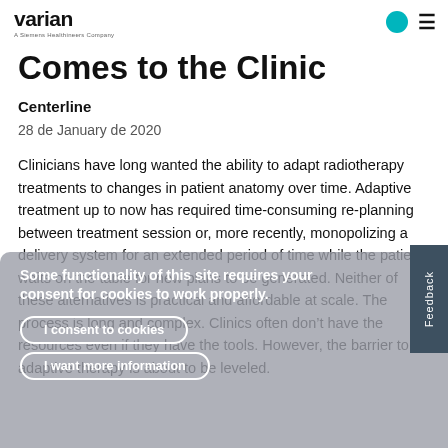varian - A Siemens Healthineers Company
Comes to the Clinic
Centerline
28 de January de 2020
Clinicians have long wanted the ability to adapt radiotherapy treatments to changes in patient anatomy over time. Adaptive treatment up to now has required time-consuming re-planning between treatment session or, more recently, monopolizing a delivery system for an extended period of time while the patient waits on the table for new plans to be generated. Neither of these alternatives is practical and affordable at scale. The process is long and complex. Clinics often don't have the resources even if they have the tools. However, the barrier to adaptive therapy is about to be leveled.